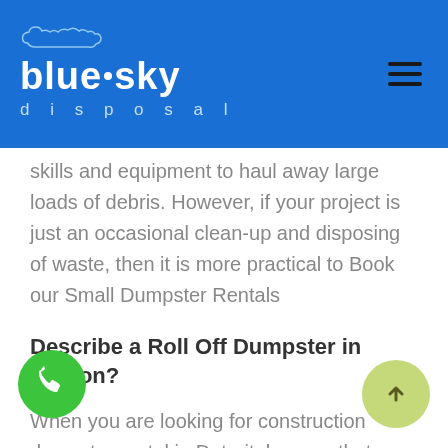blue sky disposal
skills and equipment to haul away large loads of debris. However, if your project is just an occasional clean-up and disposing of waste, then it is more practical to Book our Small Dumpster Rentals
Describe a Roll Off Dumpster in Canton?
When you are looking for construction dumpster rental in Detroit, be sure that you have considered all of your options. If you don't know where to start, consider a roll off dumpster rental. This is perfect for projects that require large amounts of debris like demolition work and landscaping cleanups. With one